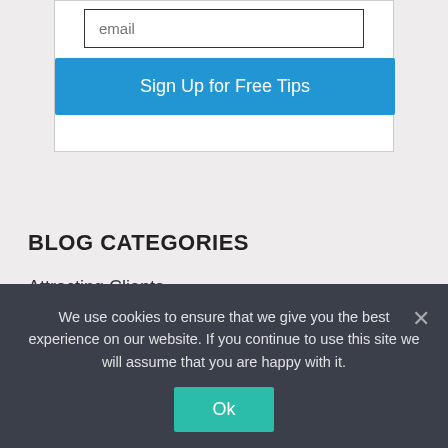[Figure (screenshot): Email input field with placeholder text 'email' and a blue 'Sign Up for Free Tips' button inside a white card]
BLOG CATEGORIES
Attracting Clients
Before You Build
Blogging for Coaches
We use cookies to ensure that we give you the best experience on our website. If you continue to use this site we will assume that you are happy with it.
Ok